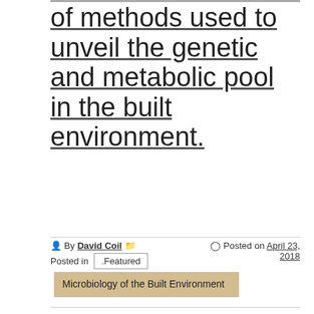of methods used to unveil the genetic and metabolic pool in the built environment.
By David Coil  Posted in .Featured
Posted on April 23, 2018
Microbiology of the Built Environment
[Figure (illustration): Illustration of a DNA double helix structure with labeled components]
(This is a blog post by Cinta Gomez-Silvan, the first author on this paper) Story behind the paper: A comparison of